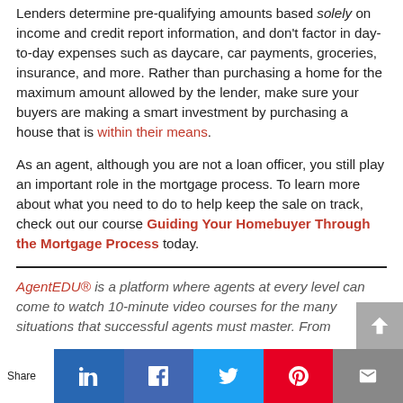Lenders determine pre-qualifying amounts based solely on income and credit report information, and don't factor in day-to-day expenses such as daycare, car payments, groceries, insurance, and more. Rather than purchasing a home for the maximum amount allowed by the lender, make sure your buyers are making a smart investment by purchasing a house that is within their means.
As an agent, although you are not a loan officer, you still play an important role in the mortgage process. To learn more about what you need to do to help keep the sale on track, check out our course Guiding Your Homebuyer Through the Mortgage Process today.
AgentEDU® is a platform where agents at every level can come to watch 10-minute video courses for the many situations that successful agents must master. From